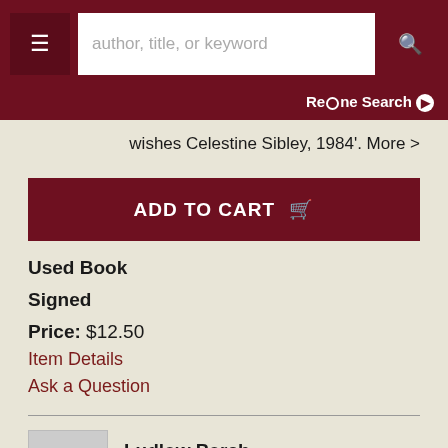author, title, or keyword
Refine Search
wishes Celestine Sibley, 1984'. More >
ADD TO CART
Used Book
Signed
Price: $12.50
Item Details
Ask a Question
Ludlow Porch